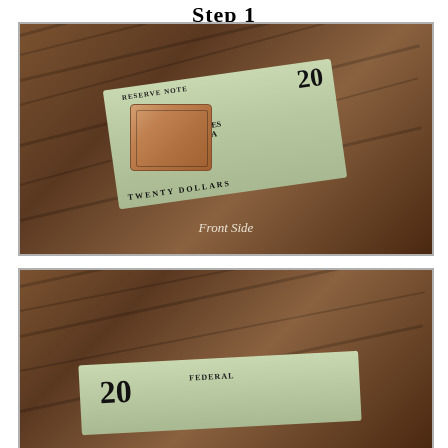Step 1
[Figure (photo): A decorative copper/leather money clip holding folded US $20 bills, shown on a wooden surface. The clip has an ornate engraved design. Text overlay reads 'Front Side'.]
[Figure (photo): A US $20 bill laid flat on a wooden surface, showing the front of the bill with 'FEDERAL' text visible. Bottom portion of page cropped.]